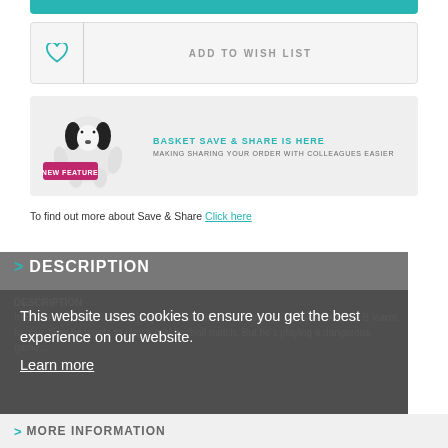ADD TO WISH LIST
[Figure (infographic): Basket Save & Share banner with badger mascot and 'New Feature' badge]
To find out more about Save & Share Click here
> DESCRIPTION
This website uses cookies to ensure you get the best experience on our website.
Learn more
DESCRIPTION
In B's world, football is only played on screen–and in prison. That's where Billy B learnt to play. Now he wants to play a real football match. But he's playing a dangerous game…
Accept Cookies
> MORE INFORMATION